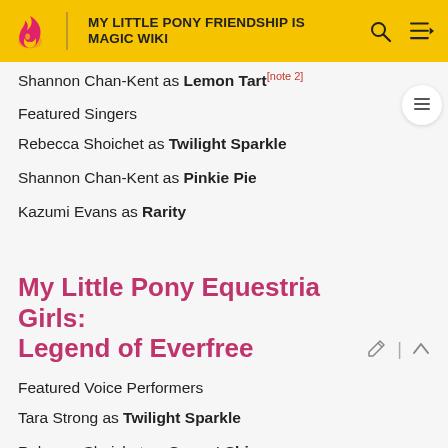MY LITTLE PONY FRIENDSHIP IS MAGIC WIKI
Shannon Chan-Kent as Lemon Tart[note 2]
Featured Singers
Rebecca Shoichet as Twilight Sparkle
Shannon Chan-Kent as Pinkie Pie
Kazumi Evans as Rarity
My Little Pony Equestria Girls: Legend of Everfree
Featured Voice Performers
Tara Strong as Twilight Sparkle
Rebecca Shoichet as Sunset Shimmer
Ashleigh Ball as Rainbow Dash, Applejack,[note 3] Lyra
Andrea Libman as Pinkie Pie, Fluttershy, Bonbon[sic]
Tabitha St. Germain as Rarity, Vice Principal Luna,